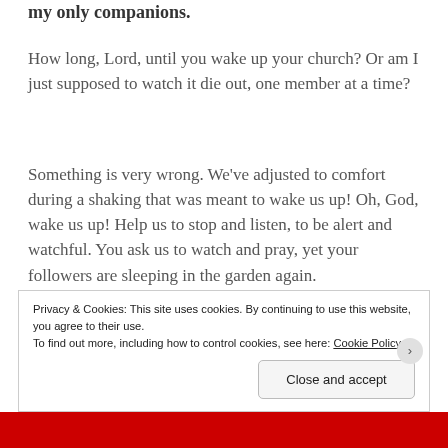my only companions.
How long, Lord, until you wake up your church? Or am I just supposed to watch it die out, one member at a time?
Something is very wrong. We've adjusted to comfort during a shaking that was meant to wake us up! Oh, God, wake us up! Help us to stop and listen, to be alert and watchful. You ask us to watch and pray, yet your followers are sleeping in the garden again.
Must you be on your own a second time?
Privacy & Cookies: This site uses cookies. By continuing to use this website, you agree to their use.
To find out more, including how to control cookies, see here: Cookie Policy
Close and accept